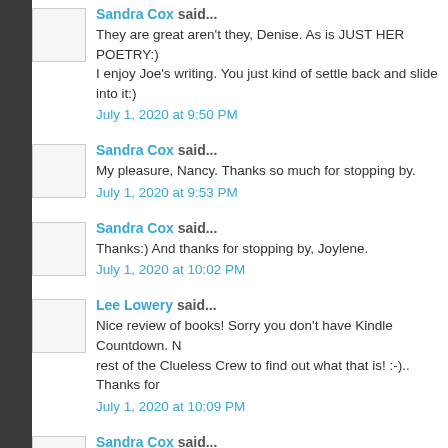Sandra Cox said...
They are great aren't they, Denise. As is JUST HER POETRY:) I enjoy Joe's writing. You just kind of settle back and slide into it:)
July 1, 2020 at 9:50 PM
Sandra Cox said...
My pleasure, Nancy. Thanks so much for stopping by.
July 1, 2020 at 9:53 PM
Sandra Cox said...
Thanks:) And thanks for stopping by, Joylene.
July 1, 2020 at 10:02 PM
Lee Lowery said...
Nice review of books! Sorry you don't have Kindle Countdown. N rest of the Clueless Crew to find out what that is! :-).. Thanks for
July 1, 2020 at 10:09 PM
Sandra Cox said...
Thanks, Rue:)